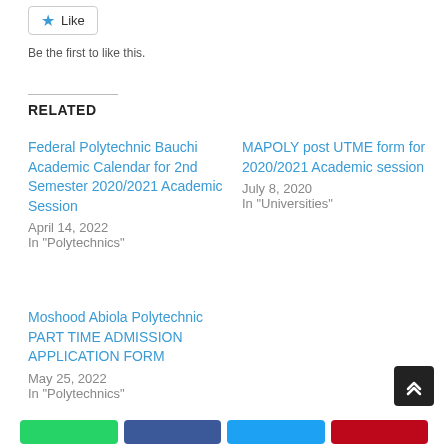Like
Be the first to like this.
RELATED
Federal Polytechnic Bauchi Academic Calendar for 2nd Semester 2020/2021 Academic Session
April 14, 2022
In "Polytechnics"
MAPOLY post UTME form for 2020/2021 Academic session
July 8, 2020
In "Universities"
Moshood Abiola Polytechnic PART TIME ADMISSION APPLICATION FORM
May 25, 2022
In "Polytechnics"